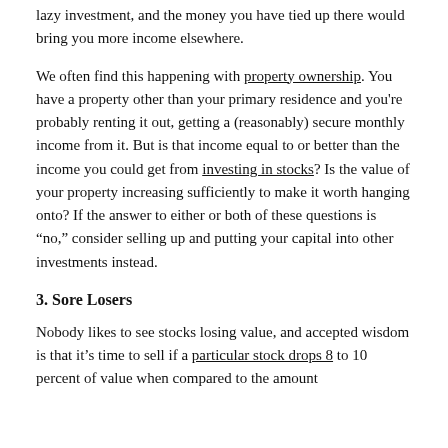lazy investment, and the money you have tied up there would bring you more income elsewhere.
We often find this happening with property ownership. You have a property other than your primary residence and you're probably renting it out, getting a (reasonably) secure monthly income from it. But is that income equal to or better than the income you could get from investing in stocks? Is the value of your property increasing sufficiently to make it worth hanging onto? If the answer to either or both of these questions is “no,” consider selling up and putting your capital into other investments instead.
3. Sore Losers
Nobody likes to see stocks losing value, and accepted wisdom is that it’s time to sell if a particular stock drops 8 to 10 percent of value when compared to the amount